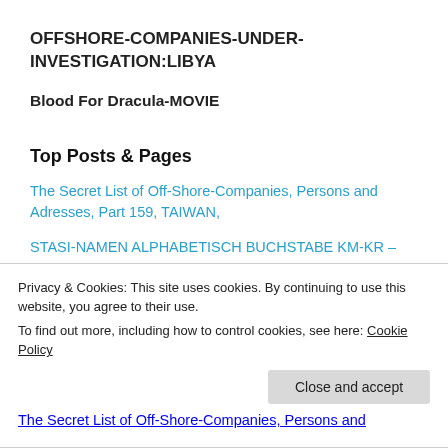OFFSHORE-COMPANIES-UNDER-INVESTIGATION:LIBYA
Blood For Dracula-MOVIE
Top Posts & Pages
The Secret List of Off-Shore-Companies, Persons and Adresses, Part 159, TAIWAN,
STASI-NAMEN ALPHABETISCH BUCHSTABE KM-KR – STASI-NAMES IN ALPHABETICAL ORDER – KM-KR
Privacy & Cookies: This site uses cookies. By continuing to use this website, you agree to their use.
To find out more, including how to control cookies, see here: Cookie Policy
The Secret List of Off-Shore-Companies, Persons and